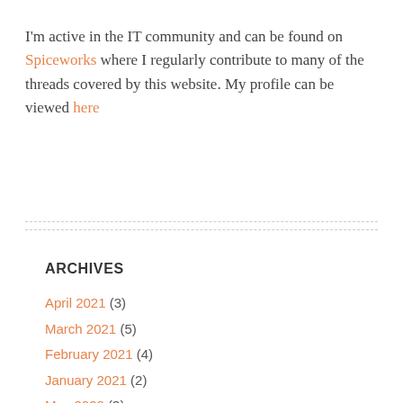I'm active in the IT community and can be found on Spiceworks where I regularly contribute to many of the threads covered by this website. My profile can be viewed here
ARCHIVES
April 2021 (3)
March 2021 (5)
February 2021 (4)
January 2021 (2)
May 2020 (3)
April 2020 (4)